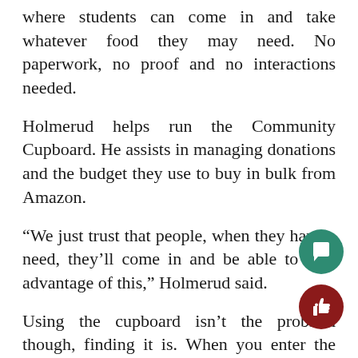where students can come in and take whatever food they may need. No paperwork, no proof and no interactions needed.
Holmerud helps run the Community Cupboard. He assists in managing donations and the budget they use to buy in bulk from Amazon.
“We just trust that people, when they have a need, they’ll come in and be able to take advantage of this,” Holmerud said.
Using the cupboard isn’t the problem though, finding it is. When you enter the Chapel, you need to make a left towards the offices, as you approach make a right down the hallway and all the way down until you come across a small kitchen with several doors. Then you keep walking straight, open the door and on the far left corner you will find the Community